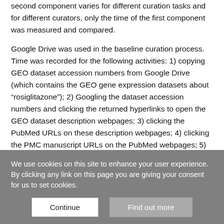second component varies for different curation tasks and for different curators, only the time of the first component was measured and compared.
Google Drive was used in the baseline curation process. Time was recorded for the following activities: 1) copying GEO dataset accession numbers from Google Drive (which contains the GEO gene expression datasets about “rosiglitazone”); 2) Googling the dataset accession numbers and clicking the returned hyperlinks to open the GEO dataset description webpages; 3) clicking the PubMed URLs on these description webpages; 4) clicking the PMC manuscript URLs on the PubMed webpages; 5) typing Ctrl-F and searching for keywords (rosiglitazone, PPAR, and
We use cookies on this site to enhance your user experience. By clicking any link on this page you are giving your consent for us to set cookies.